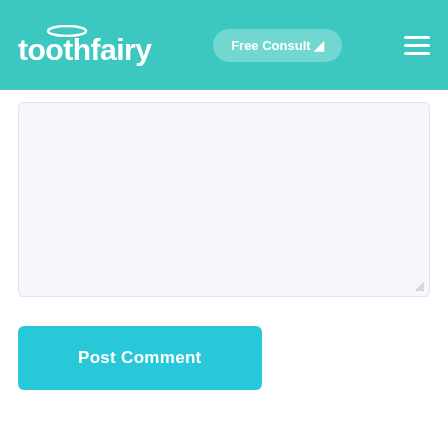toothfairy — Free Consult ☁
[Figure (screenshot): A textarea input field with light blue-gray background for entering a comment]
Post Comment